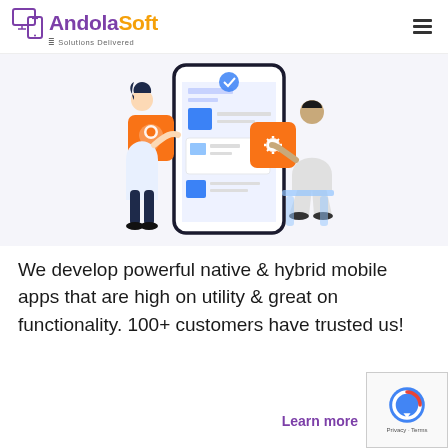[Figure (logo): AndolaSoft logo with monitor and mobile icon, tagline 'Solutions Delivered']
[Figure (illustration): Two people interacting with a large smartphone showing app UI elements, with orange floating icons for location pin and settings gear]
We develop powerful native & hybrid mobile apps that are high on utility & great on functionality. 100+ customers have trusted us!
Learn more